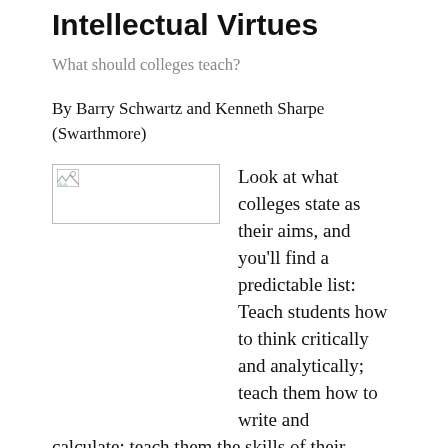Intellectual Virtues
What should colleges teach?
By Barry Schwartz and Kenneth Sharpe (Swarthmore)
[Figure (photo): Broken/placeholder image thumbnail]
Look at what colleges state as their aims, and you'll find a predictable list: Teach students how to think critically and analytically; teach them how to write and calculate; teach them the skills of their discipline. As important as such goals are,